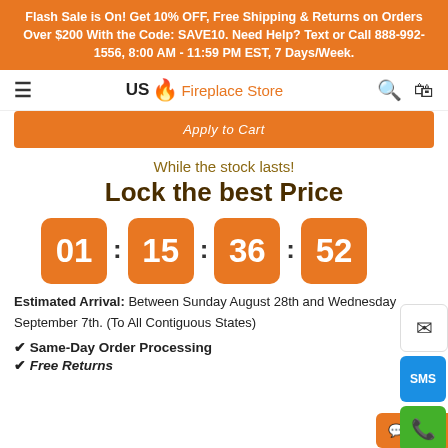Flash Sale is On! Get 10% OFF, Free Shipping & Returns on Orders Over $200 With the Code: SAVE10. Need Help? Text or Call 888-992-1556, 8:00 AM - 11:59 PM EST, 7 Days/Week.
[Figure (logo): US Fireplace Store logo with flame icon]
[Figure (other): Orange Add to Cart button bar with italic text]
While the stock lasts!
Lock the best Price
[Figure (other): Countdown timer showing 01:15:36:52 in orange rounded boxes]
Estimated Arrival: Between Sunday August 28th and Wednesday September 7th. (To All Contiguous States)
Same-Day Order Processing
Free Returns